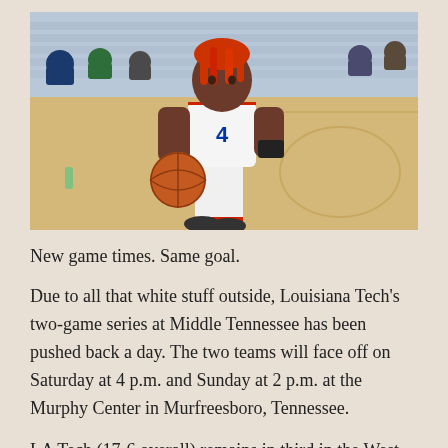[Figure (photo): Basketball player in white uniform with red and blue trim dribbling a basketball on an indoor court]
New game times. Same goal.
Due to all that white stuff outside, Louisiana Tech's two-game series at Middle Tennessee has been pushed back a day. The two teams will face off on Saturday at 4 p.m. and Sunday at 2 p.m. at the Murphy Center in Murfreesboro, Tennessee.
LA Tech (17-6 overall) remains in third in the West